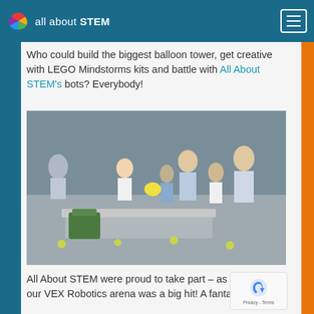all about STEM
Who could build the biggest balloon tower, get creative with LEGO Mindstorms kits and battle with All About STEM's bots? Everybody!
[Figure (photo): Children and adults gathered around a VEX Robotics arena on the floor, watching robots compete with tennis balls scattered around.]
All About STEM were proud to take part – as always, our VEX Robotics arena was a big hit! A fantastic, inspiring day with some great young people.